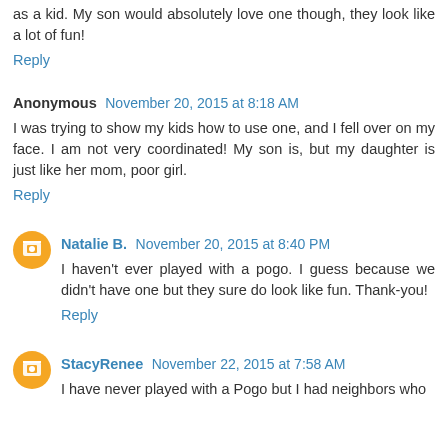as a kid. My son would absolutely love one though, they look like a lot of fun!
Reply
Anonymous  November 20, 2015 at 8:18 AM
I was trying to show my kids how to use one, and I fell over on my face. I am not very coordinated! My son is, but my daughter is just like her mom, poor girl.
Reply
Natalie B.  November 20, 2015 at 8:40 PM
I haven't ever played with a pogo. I guess because we didn't have one but they sure do look like fun. Thank-you!
Reply
StacyRenee  November 22, 2015 at 7:58 AM
I have never played with a Pogo but I had neighbors who